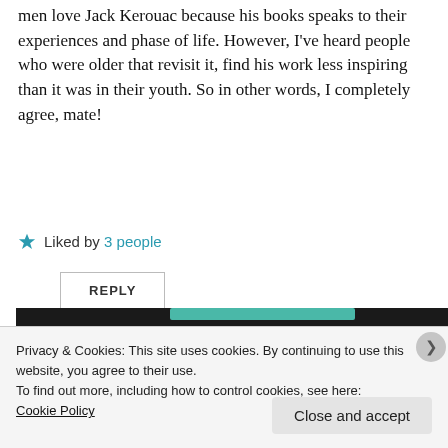men love Jack Kerouac because his books speaks to their experiences and phase of life. However, I've heard people who were older that revisit it, find his work less inspiring than it was in their youth. So in other words, I completely agree, mate!
★ Liked by 3 people
REPLY
Privacy & Cookies: This site uses cookies. By continuing to use this website, you agree to their use.
To find out more, including how to control cookies, see here:
Cookie Policy
Close and accept